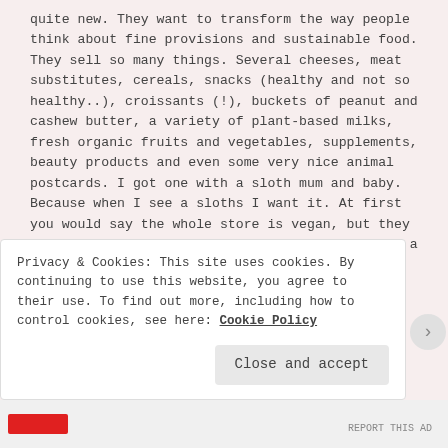quite new. They want to transform the way people think about fine provisions and sustainable food. They sell so many things. Several cheeses, meat substitutes, cereals, snacks (healthy and not so healthy..), croissants (!), buckets of peanut and cashew butter, a variety of plant-based milks, fresh organic fruits and vegetables, supplements, beauty products and even some very nice animal postcards. I got one with a sloth mum and baby. Because when I see a sloths I want it. At first you would say the whole store is vegan, but they actually do sell some animal products too. It's a very very small section though. I think
Privacy & Cookies: This site uses cookies. By continuing to use this website, you agree to their use. To find out more, including how to control cookies, see here: Cookie Policy
Close and accept